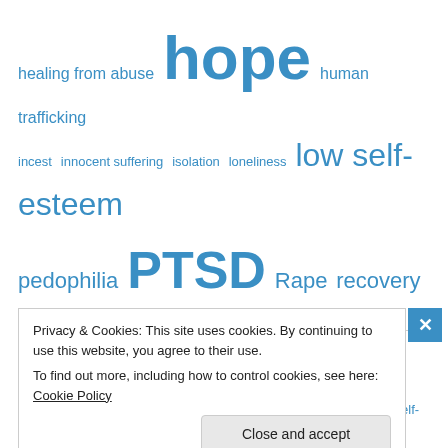[Figure (infographic): Tag cloud with mental health and abuse-related terms in varying sizes in blue: healing from abuse, hope (large), human trafficking, incest, innocent suffering, isolation, loneliness, low self-esteem (large), pedophilia (medium), PTSD (large bold), Rape (medium), recovery from abuse (medium), rejection (medium), Salvation (extra large bold), self-blame, self-criticism, self-esteem, sexual addiction, shame (extra large bold), sin, strength (large), suicide, victims' rights]
Privacy & Cookies: This site uses cookies. By continuing to use this website, you agree to their use. To find out more, including how to control cookies, see here: Cookie Policy
Close and accept